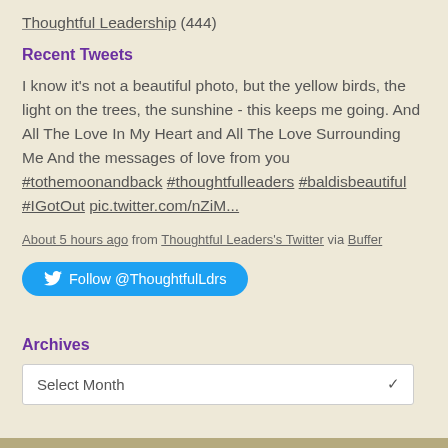Thoughtful Leadership (444)
Recent Tweets
I know it's not a beautiful photo, but the yellow birds, the light on the trees, the sunshine - this keeps me going. And All The Love In My Heart and All The Love Surrounding Me And the messages of love from you #tothemoonandback #thoughtfulleaders #baldisbeautiful #IGotOut pic.twitter.com/nZiM...
About 5 hours ago from Thoughtful Leaders's Twitter via Buffer
[Figure (other): Twitter Follow button: Follow @ThoughtfulLdrs]
Archives
Select Month (dropdown)